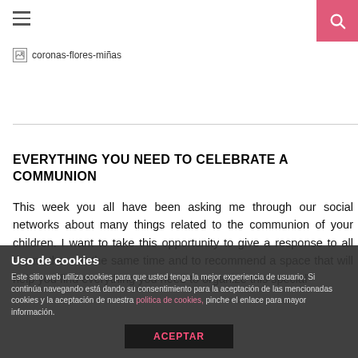≡ [hamburger menu] [search icon]
[Figure (other): Broken image placeholder labeled 'coronas-flores-miñas']
EVERYTHING YOU NEED TO CELEBRATE A COMMUNION
This week you all have been asking me through our social networks about many things related to the communion of your children. I want to take this opportunity to give a response to all the mothers at the same time and to recommend a space that will help you find everything you need to organize this special
Uso de cookies
Este sitio web utiliza cookies para que usted tenga la mejor experiencia de usuario. Si continúa navegando está dando su consentimiento para la aceptación de las mencionadas cookies y la aceptación de nuestra politica de cookies, pinche el enlace para mayor información.
ACEPTAR